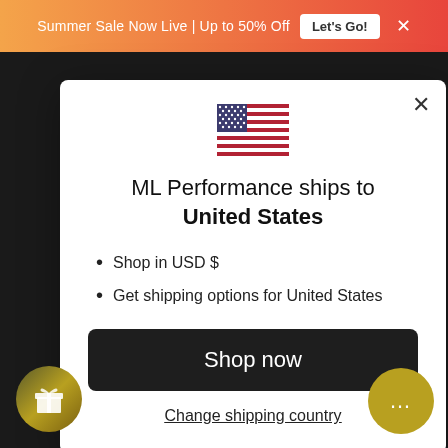Summer Sale Now Live | Up to 50% Off  Let's Go!  ×
[Figure (screenshot): US flag icon shown in modal dialog]
ML Performance ships to United States
Shop in USD $
Get shipping options for United States
Shop now
Change shipping country